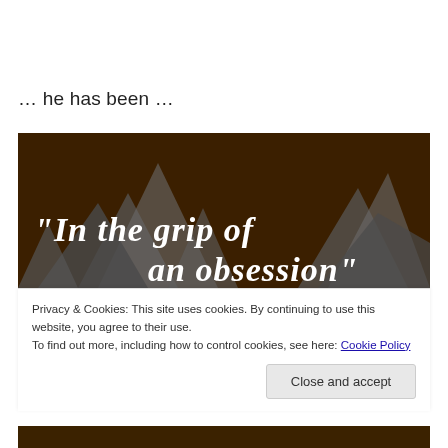… he has been …
[Figure (screenshot): Dark brown background image with stylized white hand-drawn text reading '"In the grip of an obsession"' with angular geometric shapes in background]
Privacy & Cookies: This site uses cookies. By continuing to use this website, you agree to their use.
To find out more, including how to control cookies, see here: Cookie Policy
Close and accept